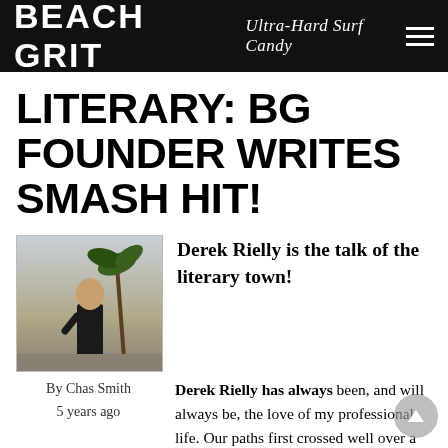BEACH GRIT Ultra-Hard Surf Candy
LITERARY: BG FOUNDER WRITES SMASH HIT!
[Figure (photo): Photo of a person (Derek Rielly) standing outdoors, with a palm tree visible in the background]
Derek Rielly is the talk of the literary town!
By Chas Smith
5 years ago
Derek Rielly has always been, and will always be, the love of my professional life. Our paths first crossed well over a decade ago. He was an Australian surf stalwart having edited Surfing Life and Waves magazines, being the founding editor of Surf Europe and then co-founding Stab. I was but a small nothing, having traveled to some Middle Eastern/East African